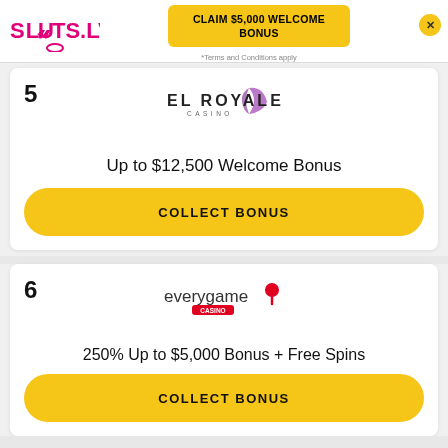SLOTS.LV
CLAIM $5,000 WELCOME BONUS
*Terms and Conditions apply
5 EL ROYALE CASINO - Up to $12,500 Welcome Bonus - COLLECT BONUS
6 everygame CASINO - 250% Up to $5,000 Bonus + Free Spins - COLLECT BONUS